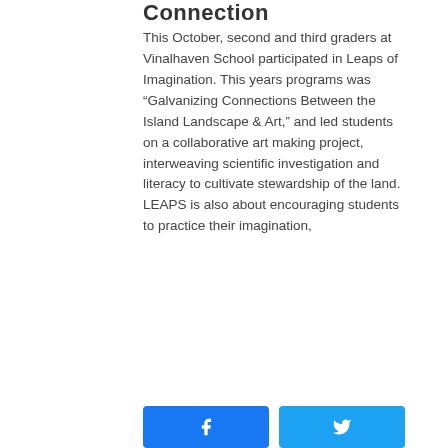Connection
This October, second and third graders at Vinalhaven School participated in Leaps of Imagination. This years programs was “Galvanizing Connections Between the Island Landscape & Art,” and led students on a collaborative art making project, interweaving scientific investigation and literacy to cultivate stewardship of the land. LEAPS is also about encouraging students to practice their imagination,
[Figure (other): Social sharing buttons: Facebook (blue) and Twitter (light blue)]